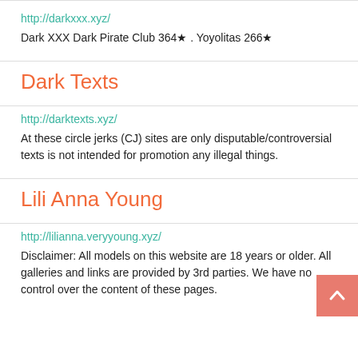http://darkxxx.xyz/
Dark XXX Dark Pirate Club 364★ . Yoyolitas 266★
Dark Texts
http://darktexts.xyz/
At these circle jerks (CJ) sites are only disputable/controversial texts is not intended for promotion any illegal things.
Lili Anna Young
http://lilianna.veryyoung.xyz/
Disclaimer: All models on this website are 18 years or older. All galleries and links are provided by 3rd parties. We have no control over the content of these pages.